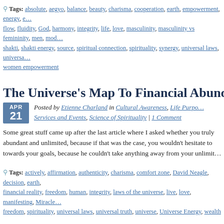Tags: absolute, aegyo, balance, beauty, charisma, cooperation, earth, empowerment, energy, e… flow, fluidity, God, harmony, integrity, life, love, masculinity, masculinity vs femininity, men, mod… shakti, shakti energy, source, spiritual connection, spirituality, synergy, universal laws, universa… women empowerment
The Universe's Map To Financial Abundance – P…
Posted by Etienne Charland in Cultural Awareness, Life Purpo… Services and Events, Science of Spirituality | 1 Comment
Some great stuff came up after the last article where I asked whether you truly... abundant and unlimited, because if that was the case, you wouldn't hesitate to... towards your goals, because he couldn't take anything away from your unlimit…
Tags: actively, affirmation, authenticity, charisma, comfort zone, David Neagle, decision, earth,… financial reality, freedom, human, integrity, laws of the universe, live, love, manifesting, Miracle… freedom, spirituality, universal laws, universal truth, universe, Universe Energy, wealth
Do You Believe The Universe Is Abundant And U…
Posted by Etienne Charland in Life Purpose and Business, Pro… Spirituality and Philosophy, World Evolution | 7 Comments
…